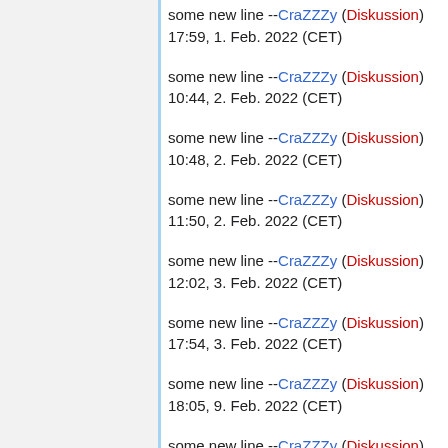some new line --CraZZZy (Diskussion) 17:59, 1. Feb. 2022 (CET)
some new line --CraZZZy (Diskussion) 10:44, 2. Feb. 2022 (CET)
some new line --CraZZZy (Diskussion) 10:48, 2. Feb. 2022 (CET)
some new line --CraZZZy (Diskussion) 11:50, 2. Feb. 2022 (CET)
some new line --CraZZZy (Diskussion) 12:02, 3. Feb. 2022 (CET)
some new line --CraZZZy (Diskussion) 17:54, 3. Feb. 2022 (CET)
some new line --CraZZZy (Diskussion) 18:05, 9. Feb. 2022 (CET)
some new line --CraZZZy (Diskussion) 11:26, 24. Feb. 2022 (CET)
some new line --CraZZZy (Diskussion)